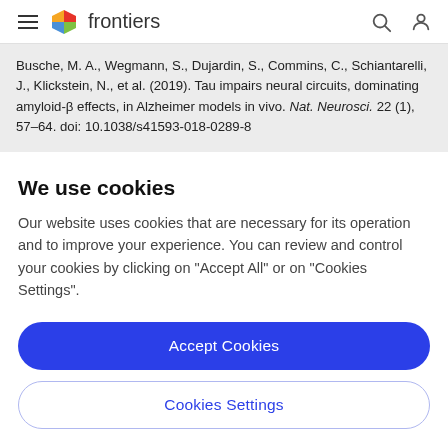frontiers
Busche, M. A., Wegmann, S., Dujardin, S., Commins, C., Schiantarelli, J., Klickstein, N., et al. (2019). Tau impairs neural circuits, dominating amyloid-β effects, in Alzheimer models in vivo. Nat. Neurosci. 22 (1), 57–64. doi: 10.1038/s41593-018-0289-8
We use cookies
Our website uses cookies that are necessary for its operation and to improve your experience. You can review and control your cookies by clicking on "Accept All" or on "Cookies Settings".
Accept Cookies
Cookies Settings